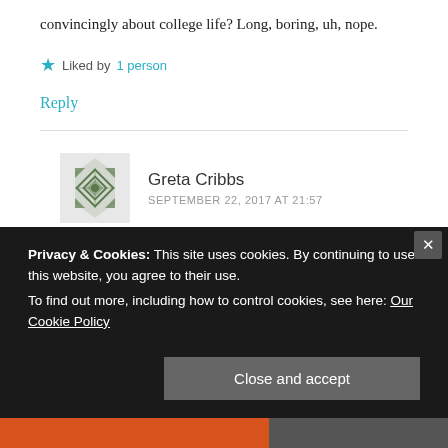convincingly about college life? Long, boring, uh, nope.
★ Liked by 1 person
Reply
Greta Cribbs
SEPTEMBER 22, 2017 AT 21:57
I do have a few disagreements with this list, but I
Privacy & Cookies: This site uses cookies. By continuing to use this website, you agree to their use.
To find out more, including how to control cookies, see here: Our Cookie Policy